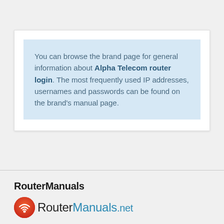You can browse the brand page for general information about Alpha Telecom router login. The most frequently used IP addresses, usernames and passwords can be found on the brand's manual page.
RouterManuals
[Figure (logo): RouterManuals.net logo with red/orange WiFi icon and text RouterManuals.net]